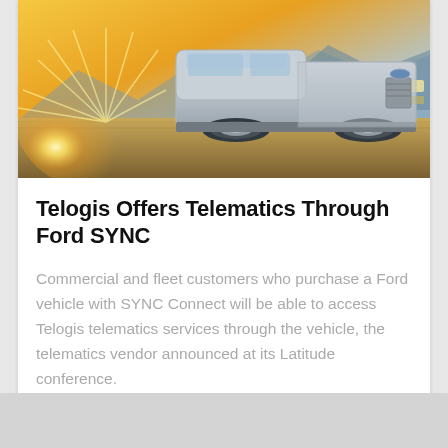[Figure (photo): A silver Ford pickup truck parked on dry grassland with a bright sunburst in the background and mountains in the distance.]
Telogis Offers Telematics Through Ford SYNC
Commercial and fleet customers who purchase a Ford vehicle with SYNC Connect will be able to access Telogis telematics services through the vehicle, the telematics vendor announced at its Latitude conference.